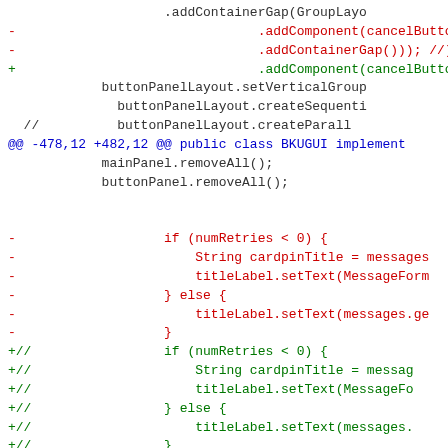[Figure (screenshot): A code diff view showing Java source code with additions (+) and deletions (-) highlighted in green and red respectively, with blue diff hunk headers (@@).]